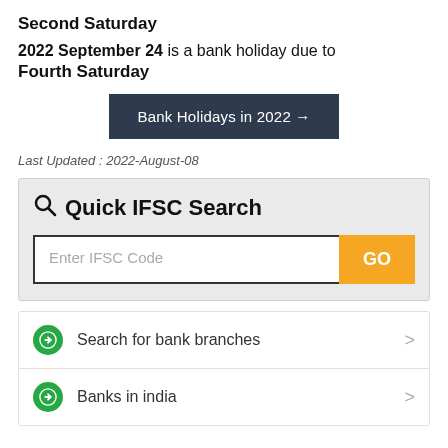Second Saturday
2022 September 24 is a bank holiday due to Fourth Saturday
Bank Holidays in 2022 →
Last Updated : 2022-August-08
Quick IFSC Search
Enter IFSC Code
Search for bank branches
Banks in india